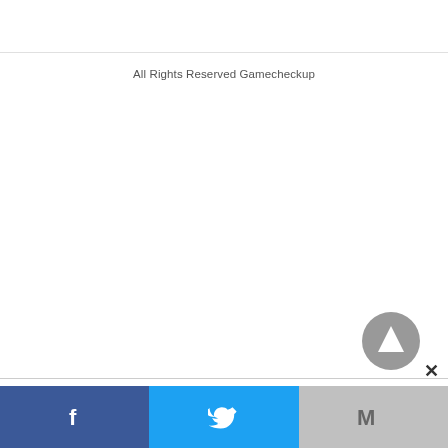All Rights Reserved Gamecheckup
[Figure (infographic): Scroll-to-top button: circular gray button with white upward triangle arrow, with a close X button next to it]
[Figure (infographic): Social share bar with three sections: Facebook (blue with F icon), Twitter (light blue with bird icon), Gmail/Mail (gray with M icon)]